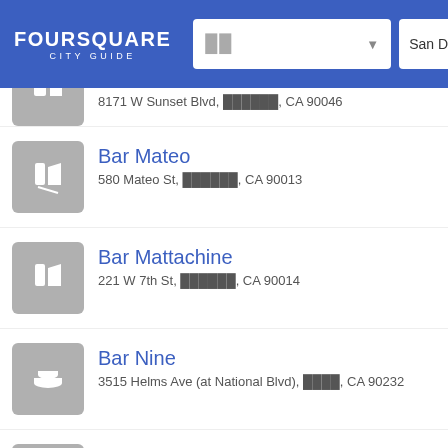Foursquare City Guide
8171 W Sunset Blvd, ██████, CA 90046
Bar Mateo
580 Mateo St, ██████, CA 90013
Bar Mattachine
221 W 7th St, ██████, CA 90014
Bar Nine
3515 Helms Ave (at National Blvd), ████, CA 90232
Bar Nineteen 12
9641 Sunset Blvd (at The Beverly Hills Hotel), Bev…
Bar Noir
140 S Lasky Dr, Beverly Hills, CA 90212
Bar One: a craft beer bar